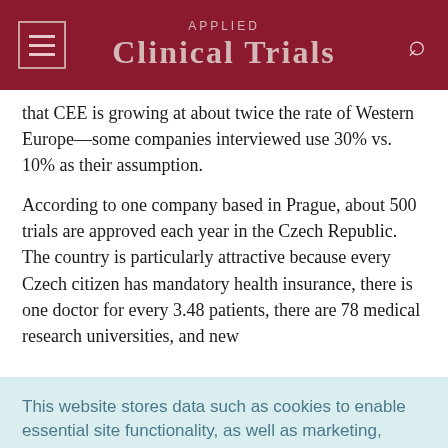Applied Clinical Trials
that CEE is growing at about twice the rate of Western Europe—some companies interviewed use 30% vs. 10% as their assumption.
According to one company based in Prague, about 500 trials are approved each year in the Czech Republic. The country is particularly attractive because every Czech citizen has mandatory health insurance, there is one doctor for every 3.48 patients, there are 78 medical research universities, and new
This website stores data such as cookies to enable essential site functionality, as well as marketing, personalization, and analytics. Cookie Policy
Accept
Deny